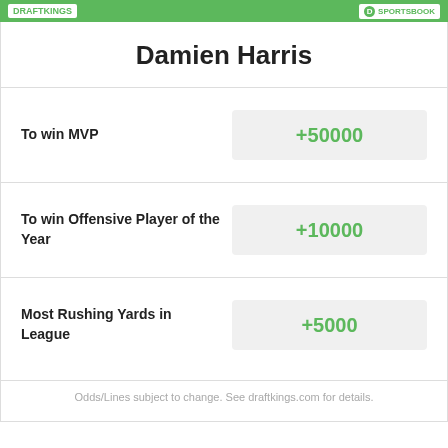DRAFTKINGS SPORTSBOOK
Damien Harris
To win MVP
+50000
To win Offensive Player of the Year
+10000
Most Rushing Yards in League
+5000
Odds/Lines subject to change. See draftkings.com for details.